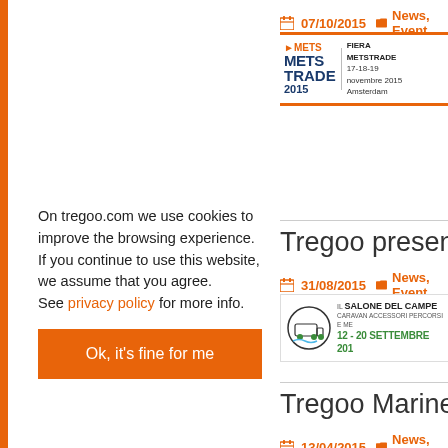07/10/2015   News, Event
[Figure (logo): METS TRADE 2015 logo with FIERA METSTRADE text and dates 17-18-19 novembre 2015 Amsterdam]
Tregoo presence at S
31/08/2015   News, Event
[Figure (logo): IL SALONE DEL CAMPE CARAVAN ACCESSORI PERCORSI E ME 12 - 20 SETTEMBRE 201 logo]
Tregoo Marine Solar
13/04/2015   News, Event
On tregoo.com we use cookies to improve the browsing experience. If you continue to use this website, we assume that you agree. See privacy policy for more info.
Ok, it's fine for me